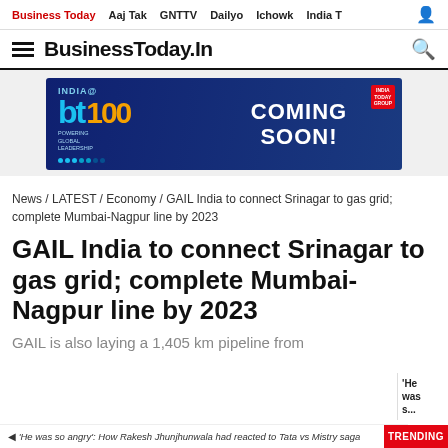Business Today  Aaj Tak  GNTTV  Dailyo  Ichowk  India T
BusinessToday.In
[Figure (infographic): BT India@100 - Coming Soon! advertisement banner with blue background, 'bt' logo in blue, '100' in orange, tagline text, and India Today Group badge in red.]
News / LATEST / Economy / GAIL India to connect Srinagar to gas grid; complete Mumbai-Nagpur line by 2023
GAIL India to connect Srinagar to gas grid; complete Mumbai-Nagpur line by 2023
GAIL is also laying a 1,405 km pipeline from